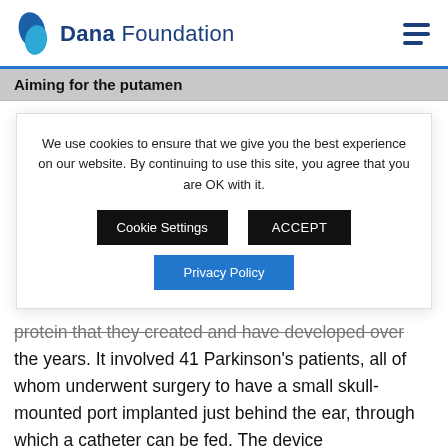Dana Foundation
Aiming for the putamen
We use cookies to ensure that we give you the best experience on our website. By continuing to use this site, you agree that you are OK with it.
Cookie Settings | ACCEPT | Privacy Policy
protein that they created and have developed over the years. It involved 41 Parkinson's patients, all of whom underwent surgery to have a small skull-mounted port implanted just behind the ear, through which a catheter can be fed. The device